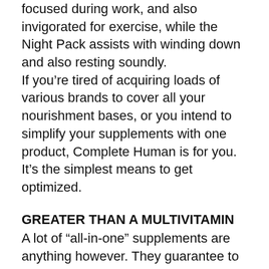focused during work, and also invigorated for exercise, while the Night Pack assists with winding down and also resting soundly.
If you're tired of acquiring loads of various brands to cover all your nourishment bases, or you intend to simplify your supplements with one product, Complete Human is for you. It's the simplest means to get optimized.
GREATER THAN A MULTIVITAMIN
A lot of “all-in-one” supplements are anything however. They guarantee to improve health, yet do not advertise the feature of the total systems that support it– that’s why you listen to reports that “multivitamins do not function.” All they’re truly helpful for is completing the dietary spaces in your diet by pounding you with minerals and vitamins. Total Human aims to do better.